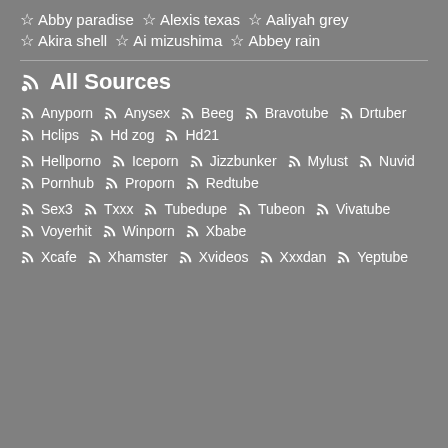☆ Abby paradise  ☆ Alexis texas  ☆ Aaliyah grey
☆ Akira shell  ☆ Ai mizushima  ☆ Abbey rain
All Sources
Anyporn  Anysex  Beeg  Bravotube  Drtuber
Hclips  Hd zog  Hd21
Hellporno  Iceporn  Jizzbunker  Mylust  Nuvid
Pornhub  Proporn  Redtube
Sex3  Txxx  Tubedupe  Tubeon  Vivatube
Voyerhit  Winporn  Xbabe
Xcafe  Xhamster  Xvideos  Xxxdan  Yeptube